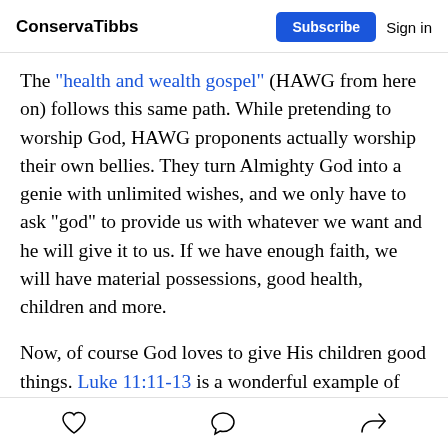ConservaTibbs | Subscribe | Sign in
The "health and wealth gospel" (HAWG from here on) follows this same path. While pretending to worship God, HAWG proponents actually worship their own bellies. They turn Almighty God into a genie with unlimited wishes, and we only have to ask "god" to provide us with whatever we want and he will give it to us. If we have enough faith, we will have material possessions, good health, children and more.
Now, of course God loves to give His children good things. Luke 11:11-13 is a wonderful example of that. But we are not entitled to anything simply because we
♡  ○  ↗